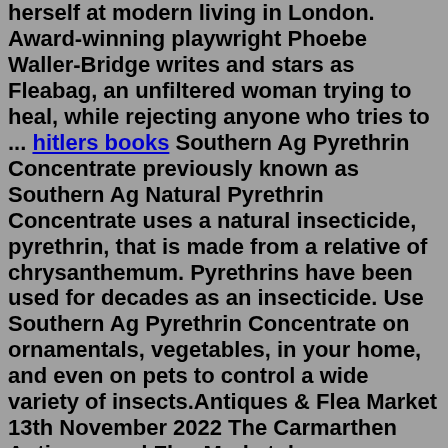herself at modern living in London. Award-winning playwright Phoebe Waller-Bridge writes and stars as Fleabag, an unfiltered woman trying to heal, while rejecting anyone who tries to ... hitlers books Southern Ag Pyrethrin Concentrate previously known as Southern Ag Natural Pyrethrin Concentrate uses a natural insecticide, pyrethrin, that is made from a relative of chrysanthemum. Pyrethrins have been used for decades as an insecticide. Use Southern Ag Pyrethrin Concentrate on ornamentals, vegetables, in your home, and even on pets to control a wide variety of insects.Antiques & Flea Market 13th November 2022 The Carmarthen Antiques and Flea Market draws enthusiasts and collectors to the United Counties Showground from all over the UK. Arrive early, bag a bargain and pick up interesting additions to house and home, choose from an truly eclectic mix of collectable and household items. Book TicketsPrecision Ag Technologies. Precision Agriculture Technologies: